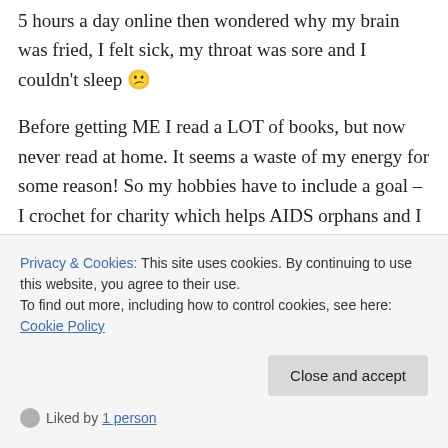5 hours a day online then wondered why my brain was fried, I felt sick, my throat was sore and I couldn't sleep 😕
Before getting ME I read a LOT of books, but now never read at home. It seems a waste of my energy for some reason! So my hobbies have to include a goal – I crochet for charity which helps AIDS orphans and I enter photography competitions (which I never win lol!) which is my goal when taking pictures. I go to a cafe once a
Privacy & Cookies: This site uses cookies. By continuing to use this website, you agree to their use.
To find out more, including how to control cookies, see here: Cookie Policy
Close and accept
Liked by 1 person